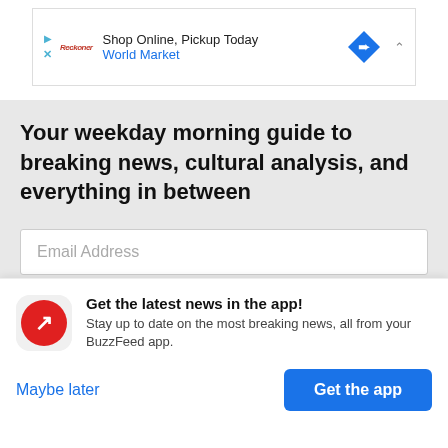[Figure (screenshot): Ad banner with play/close icons, Reckoner logo, 'Shop Online, Pickup Today' text, World Market brand name in blue, blue diamond navigation icon, and collapse caret]
Your weekday morning guide to breaking news, cultural analysis, and everything in between
Email Address
Sign up
This site is protected by reCAPTCHA and the Google Privacy Policy and Terms of Service apply.
[Figure (logo): BuzzFeed app icon — red circle with white arrow trend symbol]
Get the latest news in the app! Stay up to date on the most breaking news, all from your BuzzFeed app.
Maybe later
Get the app